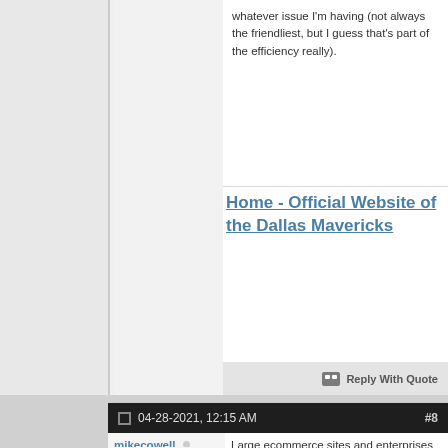whatever issue I'm having (not always the friendliest, but I guess that's part of the efficiency really).
Home - Official Website of the Dallas Mavericks
Reply With Quote
04-28-2021, 12:15 AM #8
mikecowell
Registered User
Large ecommerce sites and enterprises should consider a dedicated hosting plan because they